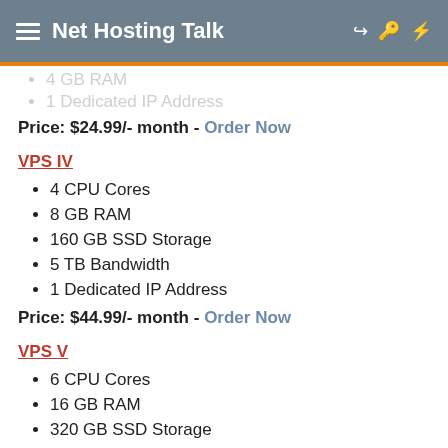Net Hosting Talk
4 GB RAM (partial, from previous section)
1 Dedicated IP Address (partial, from previous section)
Price: $24.99/- month - Order Now
VPS IV
4 CPU Cores
8 GB RAM
160 GB SSD Storage
5 TB Bandwidth
1 Dedicated IP Address
Price: $44.99/- month - Order Now
VPS V
6 CPU Cores
16 GB RAM
320 GB SSD Storage
8 TB Bandwidth